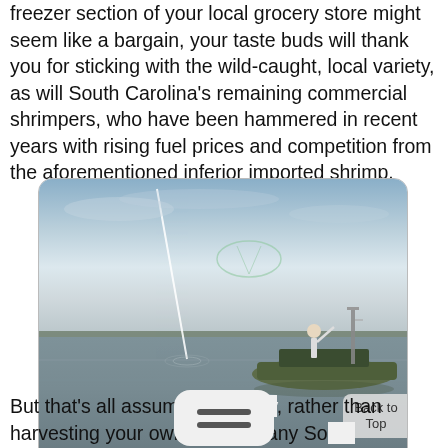freezer section of your local grocery store might seem like a bargain, your taste buds will thank you for sticking with the wild-caught, local variety, as will South Carolina's remaining commercial shrimpers, who have been hammered in recent years with rising fuel prices and competition from the aforementioned inferior imported shrimp.
[Figure (photo): A person standing on a small fishing boat on calm water, casting a net. The scene is at dusk or dawn with a pale sky and flat water. A long pole or rod extends diagonally from the left side of the image. Trees are visible on the distant horizon.]
But that's all assuming yo[u buy], rather than harvesting your own, which many So[uth Carol]ians do, especially